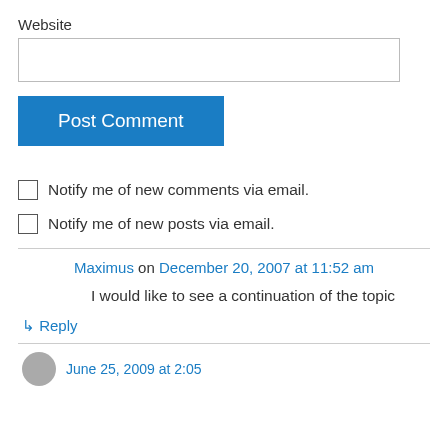Website
Post Comment
Notify me of new comments via email.
Notify me of new posts via email.
Maximus on December 20, 2007 at 11:52 am
I would like to see a continuation of the topic
↳ Reply